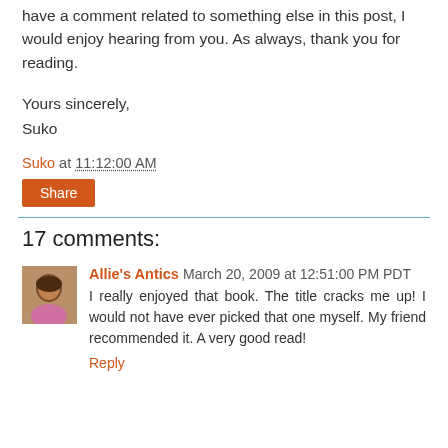have a comment related to something else in this post, I would enjoy hearing from you. As always, thank you for reading.
Yours sincerely,
Suko
Suko at 11:12:00 AM
Share
17 comments:
Allie's Antics March 20, 2009 at 12:51:00 PM PDT
I really enjoyed that book. The title cracks me up! I would not have ever picked that one myself. My friend recommended it. A very good read!
Reply